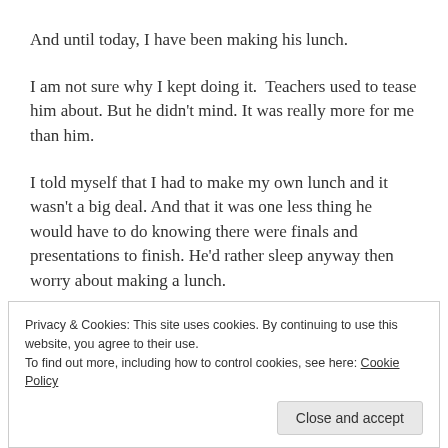And until today, I have been making his lunch.
I am not sure why I kept doing it.  Teachers used to tease him about. But he didn't mind. It was really more for me than him.
I told myself that I had to make my own lunch and it wasn't a big deal. And that it was one less thing he would have to do knowing there were finals and presentations to finish. He'd rather sleep anyway then worry about making a lunch.
Privacy & Cookies: This site uses cookies. By continuing to use this website, you agree to their use.
To find out more, including how to control cookies, see here: Cookie Policy
Close and accept